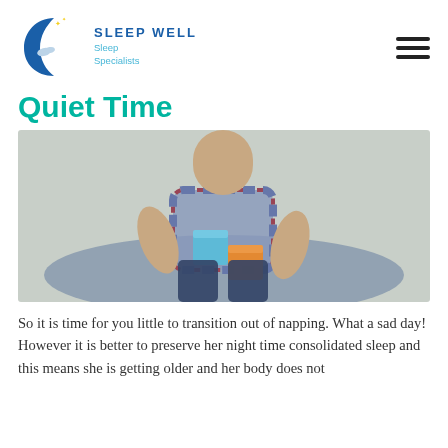[Figure (logo): Sleep Well Sleep Specialists logo with crescent moon and bird silhouette]
Quiet Time
[Figure (photo): A young child sitting on a blue surface playing with colorful building blocks, wearing a plaid shirt]
So it is time for you little to transition out of napping. What a sad day! However it is better to preserve her night time consolidated sleep and this means she is getting older and her body does not